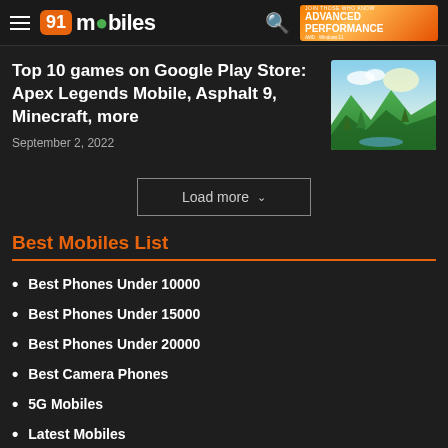91mobiles
[Figure (screenshot): Advertisement banner: JOIN THOSE WHO KNOW ADVANCED PERFORMANCE]
Top 10 games on Google Play Store: Apex Legends Mobile, Asphalt 9, Minecraft, more
September 2, 2022
[Figure (illustration): Thumbnail image of a colorful illustrated landscape scene]
Load more
Best Mobiles List
Best Phones Under 10000
Best Phones Under 15000
Best Phones Under 20000
Best Camera Phones
5G Mobiles
Latest Mobiles
Best Mobiles